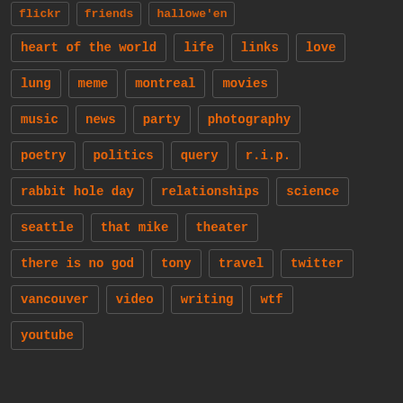flickr
friends
hallowe'en
heart of the world
life
links
love
lung
meme
montreal
movies
music
news
party
photography
poetry
politics
query
r.i.p.
rabbit hole day
relationships
science
seattle
that mike
theater
there is no god
tony
travel
twitter
vancouver
video
writing
wtf
youtube